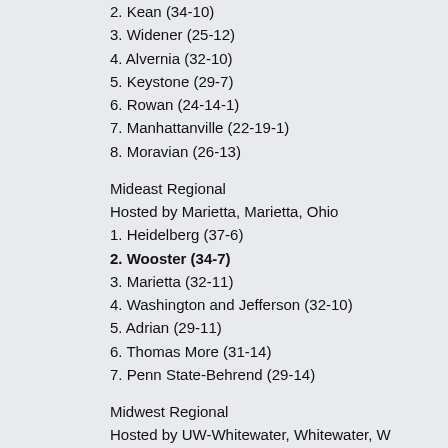2. Kean (34-10)
3. Widener (25-12)
4. Alvernia (32-10)
5. Keystone (29-7)
6. Rowan (24-14-1)
7. Manhattanville (22-19-1)
8. Moravian (26-13)
Mideast Regional
Hosted by Marietta, Marietta, Ohio
1. Heidelberg (37-6)
2. Wooster (34-7)
3. Marietta (32-11)
4. Washington and Jefferson (32-10)
5. Adrian (29-11)
6. Thomas More (31-14)
7. Penn State-Behrend (29-14)
Midwest Regional
Hosted by UW-Whitewater, Whitewater, W
1. UW-Whitewater (38-5)
2. St. Thomas (33-7)
3. St. Scholastica (38-6)
4. UW-Stevens Point (29-15)
5. Carthage (28-16)
6. Aurora (27-14)